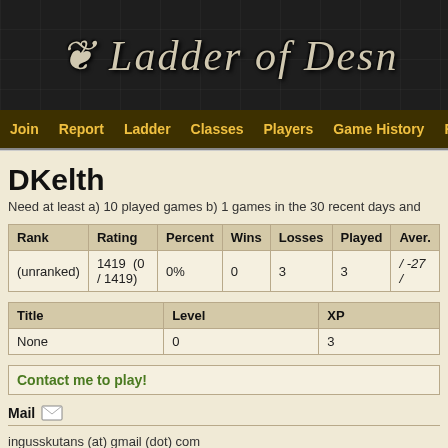[Figure (other): Decorative banner with stone texture background and medieval-style text 'Ladder of Desn...' in gothic font]
Join  Report  Ladder  Classes  Players  Game History  FAQ
DKelth
Need at least a) 10 played games b) 1 games in the 30 recent days and
| Rank | Rating | Percent | Wins | Losses | Played | Aver. |
| --- | --- | --- | --- | --- | --- | --- |
| (unranked) | 1419   (0 / 1419) | 0% | 0 | 3 | 3 | / -27 / |
| Title | Level | XP |
| --- | --- | --- |
| None | 0 | 3 |
Contact me to play!
Mail
ingusskutans (at) gmail (dot) com
Available to play [+]